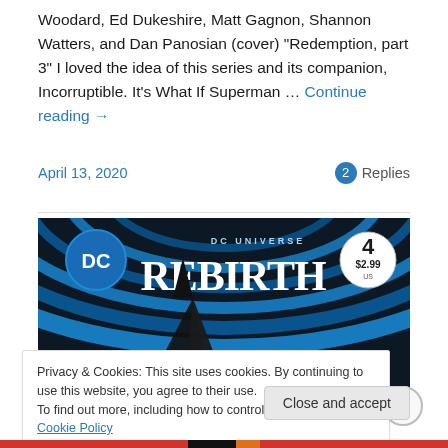Woodard, Ed Dukeshire, Matt Gagnon, Shannon Watters, and Dan Panosian (cover) "Redemption, part 3" I loved the idea of this series and its companion, Incorruptible. It's What If Superman … Continue reading →
April 13, 2020
2 Replies
[Figure (photo): DC Universe Rebirth comic book cover, issue #4, $2.99, showing Batman silhouette and partial title 'TITANS']
Privacy & Cookies: This site uses cookies. By continuing to use this website, you agree to their use.
To find out more, including how to control cookies, see here: Cookie Policy
Close and accept